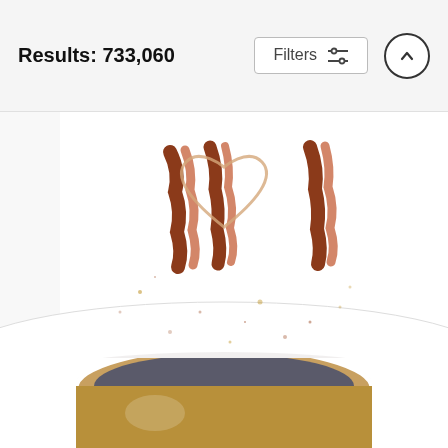Results: 733,060
Filters
[Figure (photo): Top portion of a white ceramic coffee mug with bacon and egg heart design and spatter marks visible]
Bacon and Egg I Love You Coffee Mug
Olga Shvartsur
$14 (strikethrough) $11
[Figure (photo): Top portion of a gold/brown ceramic mug showing the rim from above]